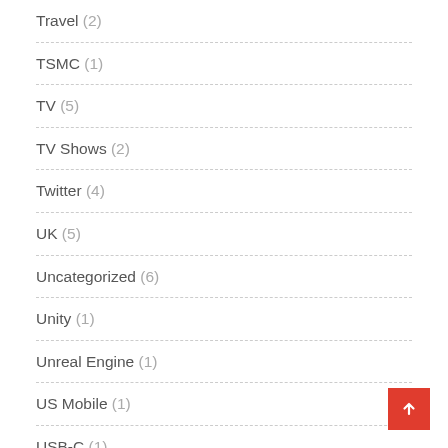Travel (2)
TSMC (1)
TV (5)
TV Shows (2)
Twitter (4)
UK (5)
Uncategorized (6)
Unity (1)
Unreal Engine (1)
US Mobile (1)
USB-C (1)
Verizon (26)
Virgin Mobile (?)